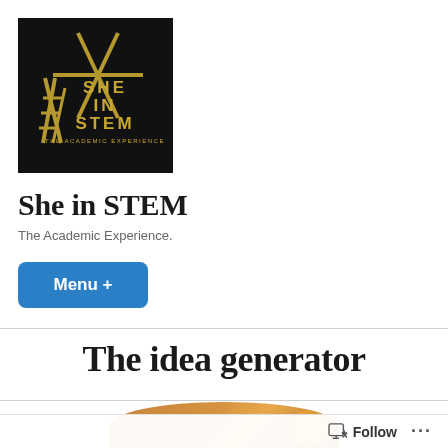[Figure (logo): She in STEM logo — black background with gold geometric star/DNA-helix design and text 'SHE IN STEM THE ACADEMIC EXPERIENCE' in gold]
She in STEM
The Academic Experience.
Menu +
The idea generator
[Figure (photo): Partial circular image at bottom of page, showing warm brown/orange tones, partially cropped]
Follow ...